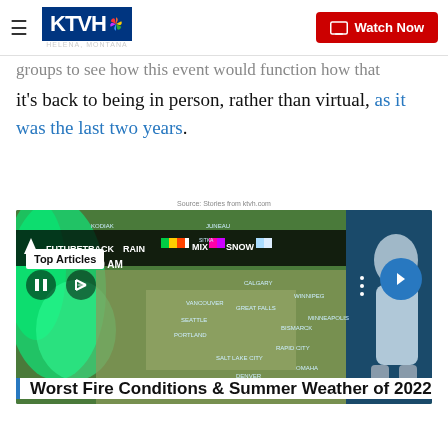KTVH — Watch Now
groups to see how this event would function now that it's back to being in person, rather than virtual, as it was the last two years.
Source: Stories from ktvh.com
[Figure (screenshot): Weather forecast map showing FUTURETRACK RAIN/MIX/SNOW for FRIDAY 4:00 AM, with cities labeled across the western and central US and Canada including Vancouver, Seattle, Portland, San Francisco, Salt Lake City, Denver, Great Falls, Bismarck, Rapid City, Omaha, Wichita, Minneapolis, Winnipeg, Calgary, Juneau, Kodiak. Green precipitation visible on the west coast. A meteorologist stands to the right of the map.]
Worst Fire Conditions & Summer Weather of 2022